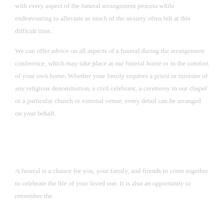with every aspect of the funeral arrangement process while endeavouring to alleviate as much of the anxiety often felt at this difficult time.
We can offer advice on all aspects of a funeral during the arrangement conference, which may take place at our funeral home or in the comfort of your own home. Whether your family requires a priest or minister of any religious denomination, a civil celebrant, a ceremony in our chapel or a particular church or external venue, every detail can be arranged on your behalf.
A funeral is a chance for you, your family, and friends to come together to celebrate the life of your loved one. It is also an opportunity to remember the